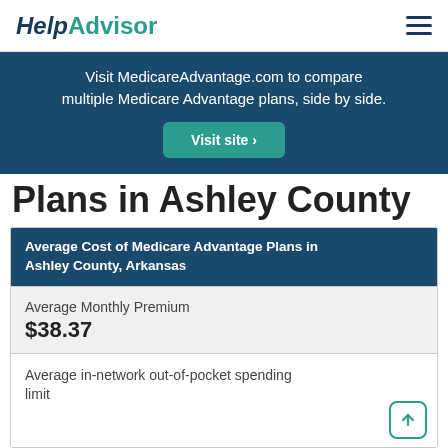HelpAdvisor
Visit MedicareAdvantage.com to compare multiple Medicare Advantage plans, side by side. Visit site >
Plans in Ashley County
| Average Cost of Medicare Advantage Plans in Ashley County, Arkansas |
| --- |
| Average Monthly Premium | $38.37 |
| Average in-network out-of-pocket spending limit |  |